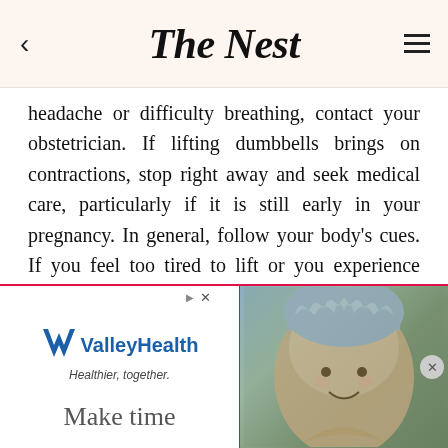The Nest
headache or difficulty breathing, contact your obstetrician. If lifting dumbbells brings on contractions, stop right away and seek medical care, particularly if it is still early in your pregnancy. In general, follow your body's cues. If you feel too tired to lift or you experience pain or discomfort, it is likely that you're overdoing it and should ease up on your routine.
[Figure (screenshot): Advertisement for ValleyHealth with tagline 'Healthier, together.' and text 'Make time'. Shows a woman with curly blue-grey hair on the right side.]